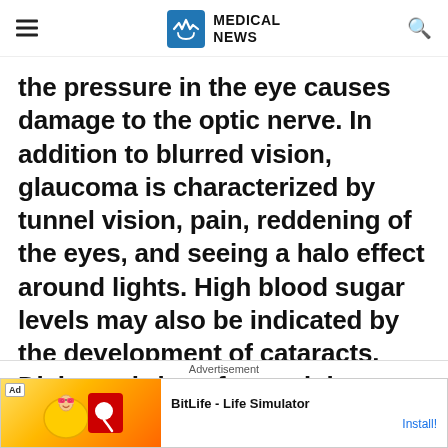MEDICAL NEWS
the pressure in the eye causes damage to the optic nerve. In addition to blurred vision, glaucoma is characterized by tunnel vision, pain, reddening of the eyes, and seeing a halo effect around lights. High blood sugar levels may also be indicated by the development of cataracts. Diabetes brings forward the onset of cataracts. Cataracts cause blurr…
Advertisement
Ad   BitLife - Life Simulator   Install!